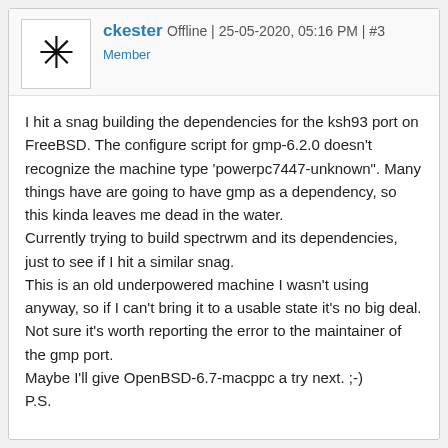ckester Offline | 25-05-2020, 05:16 PM | #3
Member
I hit a snag building the dependencies for the ksh93 port on FreeBSD. The configure script for gmp-6.2.0 doesn't recognize the machine type 'powerpc7447-unknown". Many things have are going to have gmp as a dependency, so this kinda leaves me dead in the water.
Currently trying to build spectrwm and its dependencies, just to see if I hit a similar snag.
This is an old underpowered machine I wasn't using anyway, so if I can't bring it to a usable state it's no big deal. Not sure it's worth reporting the error to the maintainer of the gmp port.
Maybe I'll give OpenBSD-6.7-macppc a try next. ;-)
P.S.